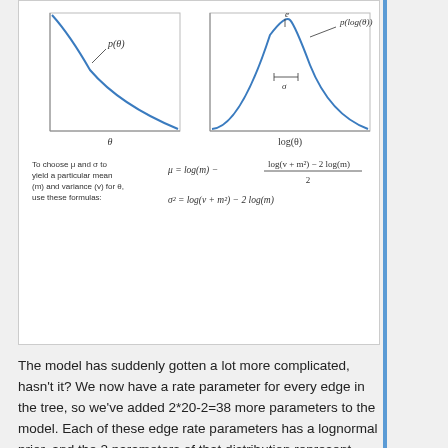[Figure (other): Diagram showing lognormal distribution plots and formulas for choosing mu and sigma to yield a particular mean (m) and variance (v) for theta. Left plot shows p(theta) vs theta as a decreasing curve. Right plot shows p(log(theta)) vs log(theta) as a bell curve with annotations for e and sigma. Formulas: mu = log(m) - (log(v + m^2) - 2*log(m)) / 2, sigma^2 = log(v + m^2) - 2*log(m).]
The model has suddenly gotten a lot more complicated, hasn't it? We now have a rate parameter for every edge in the tree, so we've added 2*20-2=38 more parameters to the model. Each of these edge rate parameters has a lognormal prior, and the 2 parameters of that distribution represent hyperparameters in what is now a hierarchical model, so we've increased the model from 10 parameters (1 clock_rate, 1 birth_rate, 3 state_freqs, 5 exchangeabilities) to 50 parameters (the